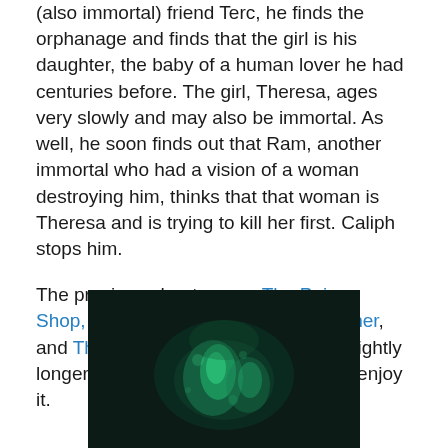(also immortal) friend Terc, he finds the orphanage and finds that the girl is his daughter, the baby of a human lover he had centuries before. The girl, Theresa, ages very slowly and may also be immortal. As well, he soon finds out that Ram, another immortal who had a vision of a woman destroying him, thinks that that woman is Theresa and is trying to kill her first. Caliph stops him.
The previous chapters are The Poison Shop, The Poisoned Child, The Poisoner, and The Poisoned Mind. This one is slightly longer than the others, but I hope you enjoy it.
[Figure (photo): Dark image with a glowing teal/green ethereal figure or shape against a near-black background]